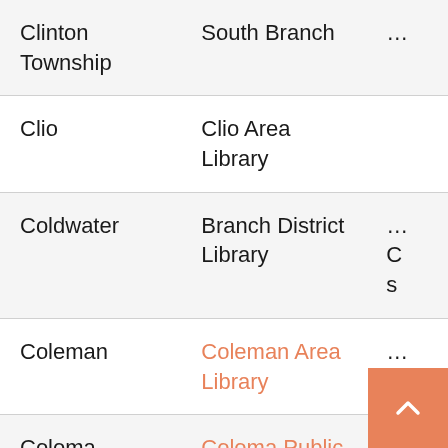| City/Township | Library | Info |
| --- | --- | --- |
| Clinton Township | South Branch | … |
| Clio | Clio Area Library |  |
| Coldwater | Branch District Library | … |
| Coleman | Coleman Area Library | … |
| Coloma | Coloma Public Library | … |